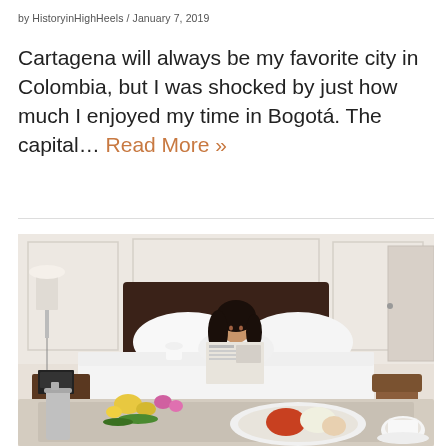by HistoryinHighHeels / January 7, 2019
Cartagena will always be my favorite city in Colombia, but I was shocked by just how much I enjoyed my time in Bogotá. The capital… Read More »
[Figure (photo): Woman in white bathrobe sitting in a hotel bed reading a newspaper and holding a cup, with breakfast tray in foreground containing flowers, coffee press, and food]